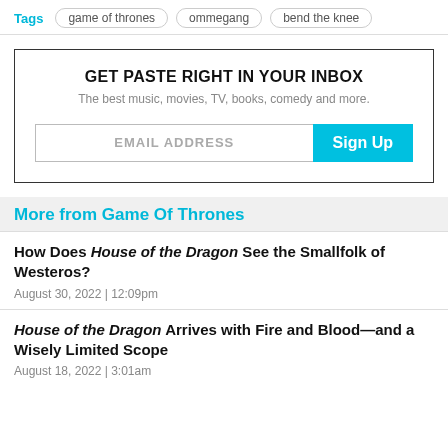Tags  game of thrones  ommegang  bend the knee
GET PASTE RIGHT IN YOUR INBOX
The best music, movies, TV, books, comedy and more.
EMAIL ADDRESS  Sign Up
More from Game Of Thrones
How Does House of the Dragon See the Smallfolk of Westeros?
August 30, 2022  |  12:09pm
House of the Dragon Arrives with Fire and Blood—and a Wisely Limited Scope
August 18, 2022  |  3:01am